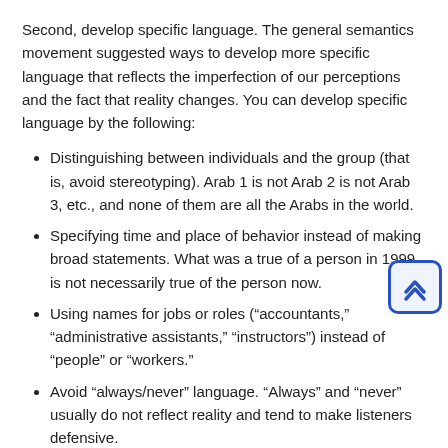Second, develop specific language. The general semantics movement suggested ways to develop more specific language that reflects the imperfection of our perceptions and the fact that reality changes. You can develop specific language by the following:
Distinguishing between individuals and the group (that is, avoid stereotyping). Arab 1 is not Arab 2 is not Arab 3, etc., and none of them are all the Arabs in the world.
Specifying time and place of behavior instead of making broad statements. What was a true of a person in 1999 is not necessarily true of the person now.
Using names for jobs or roles (“accountants,” “administrative assistants,” “instructors”) instead of “people” or “workers.”
Avoid “always/never” language. “Always” and “never” usually do not reflect reality and tend to make listeners defensive.
Avoid confusing opinion for fact. If I say, “Forrest Gump is a stupid movie,” I am stating an opinion in the language of fact. If you preface opinions with “I believe,” or “It is my opinion” you will be truthful and gain the appearance of being fair-minded and non-dogmatic. What should be said is “The first time I saw Forrest Gump, I didn’t realize it was a farce, but after I saw it a second